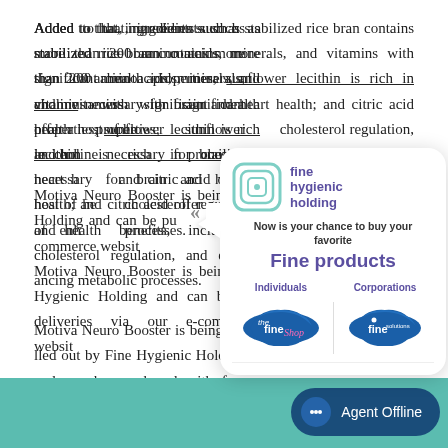Added to that, ingredients such as stabilized rice bran contains more than 200 amino acids, minerals, and vitamins with significant health properties; sunflower lecithin is rich in choline necessary for brain and heart health; and citric acid offer a host of health benefits, including cholesterol regulation, and enhancing metabolic processes.
Motiva Neuro Booster is being rolled out by Fine Hygienic Holding and can be purchased with free deliveries via our e-commerce website.
[Figure (infographic): Fine Hygienic Holding advertisement popup/card showing logo, tagline 'Now is your chance to buy your favorite Fine products', with two options: Individuals (the fine Shop logo) and Corporations (Fine Solutions logo). Card has a speech bubble arrow on the left.]
Categories: 2021 | Return
[Figure (infographic): Agent Offline chat button at bottom right on a teal footer bar background.]